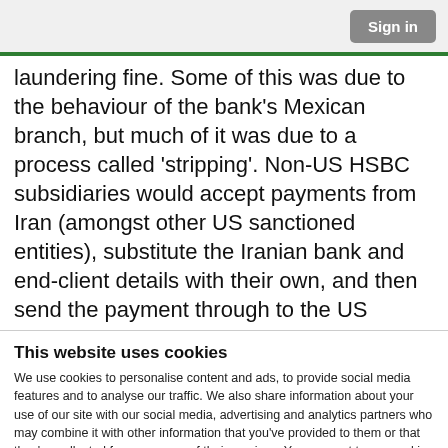Sign in
laundering fine. Some of this was due to the behaviour of the bank's Mexican branch, but much of it was due to a process called 'stripping'. Non-US HSBC subsidiaries would accept payments from Iran (amongst other US sanctioned entities), substitute the Iranian bank and end-client details with their own, and then send the payment through to the US
This website uses cookies
We use cookies to personalise content and ads, to provide social media features and to analyse our traffic. We also share information about your use of our site with our social media, advertising and analytics partners who may combine it with other information that you've provided to them or that they've collected from your use of their services. You consent to our cookies if you continue to use our website.
OK
Necessary  Preferences  Statistics  Marketing  Show details